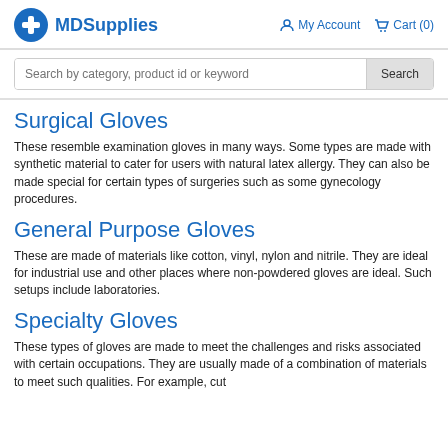MDSupplies | My Account | Cart (0)
Search by category, product id or keyword
Surgical Gloves
These resemble examination gloves in many ways. Some types are made with synthetic material to cater for users with natural latex allergy. They can also be made special for certain types of surgeries such as some gynecology procedures.
General Purpose Gloves
These are made of materials like cotton, vinyl, nylon and nitrile. They are ideal for industrial use and other places where non-powdered gloves are ideal. Such setups include laboratories.
Specialty Gloves
These types of gloves are made to meet the challenges and risks associated with certain occupations. They are usually made of a combination of materials to meet such qualities. For example, cut